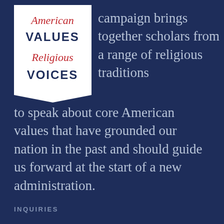[Figure (logo): American Values Religious Voices logo — a pennant/bookmark shape in dark navy with script 'American' in red at top, bold 'VALUES' in dark navy, script 'Religious' in red, and bold 'VOICES' in dark navy]
campaign brings together scholars from a range of religious traditions to speak about core American values that have grounded our nation in the past and should guide us forward at the start of a new administration.
INQUIRIES
info@valuesandvoices.com